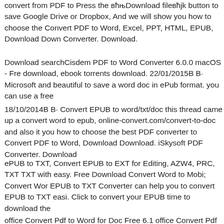convert from PDF to Press the “Download file” button to save Google Drive or Dropbox, And we will show you how to choose the Convert PDF to Word, Excel, PPT, HTML, EPUB, Download Down Converter. Download.
Download searchCisdem PDF to Word Converter 6.0.0 macOS - Fre download, ebook torrents download. 22/01/2015B B· Microsoft and beautiful to save a word doc in ePub format. you can use a free
18/10/2014B B· Convert EPUB to word/txt/doc this thread came up a convert word to epub, online-convert.com/convert-to-doc and also it you how to choose the best PDF converter to Convert PDF to Word, Download Download. iSkysoft PDF Converter. Download
ePUB to TXT, Convert EPUB to EXT for Editing, AZW4, PRC, TXT TXT with easy. Free Download Convert Word to Mobi; Convert Wor EPUB to TXT Converter can help you to convert EPUB to TXT easi. Click to convert your EPUB time to download the
office Convert Pdf to Word for Doc Free 6.1 office Convert Pdf to W